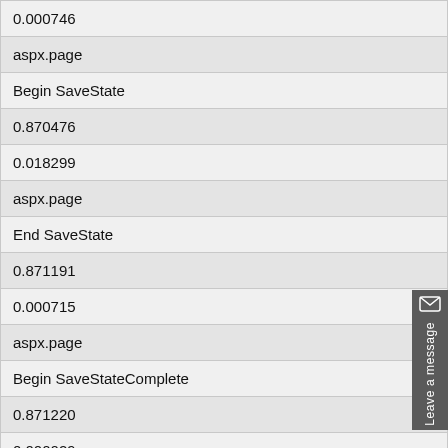| 0.000746 |
| aspx.page |
| Begin SaveState |
| 0.870476 |
| 0.018299 |
| aspx.page |
| End SaveState |
| 0.871191 |
| 0.000715 |
| aspx.page |
| Begin SaveStateComplete |
| 0.871220 |
| 0.000029 |
| aspx.page |
| End SaveStateComplete |